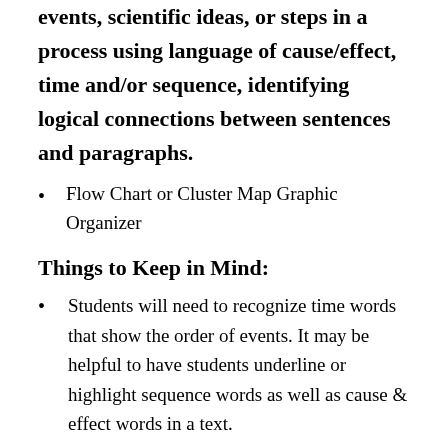events, scientific ideas, or steps in a process using language of cause/effect, time and/or sequence, identifying logical connections between sentences and paragraphs.
Flow Chart or Cluster Map Graphic Organizer
Things to Keep in Mind:
Students will need to recognize time words that show the order of events. It may be helpful to have students underline or highlight sequence words as well as cause & effect words in a text.
They will need practice with comparison words like…